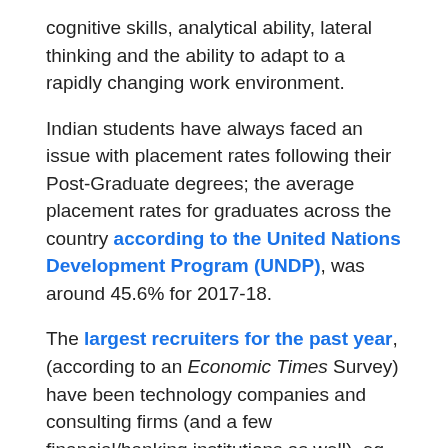cognitive skills, analytical ability, lateral thinking and the ability to adapt to a rapidly changing work environment.
Indian students have always faced an issue with placement rates following their Post-Graduate degrees; the average placement rates for graduates across the country according to the United Nations Development Program (UNDP), was around 45.6% for 2017-18.
The largest recruiters for the past year, (according to an Economic Times Survey) have been technology companies and consulting firms (and a few financial/banking institutions as well), eg. Amazon, Cognizant, Ernst and Young, KPMG, ICICI Bank etc. These companies focus on hiring engineering and management graduates, both of which have had poor placement records and have serious issues with employability.